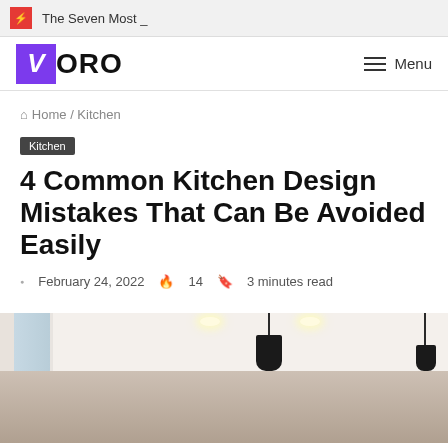The Seven Most _
VORO  Menu
Home / Kitchen
Kitchen
4 Common Kitchen Design Mistakes That Can Be Avoided Easily
February 24, 2022  14  3 minutes read
[Figure (photo): Interior kitchen photo showing ceiling with recessed lighting, pendant lights hanging down, and a window on the left side, with warm tones.]